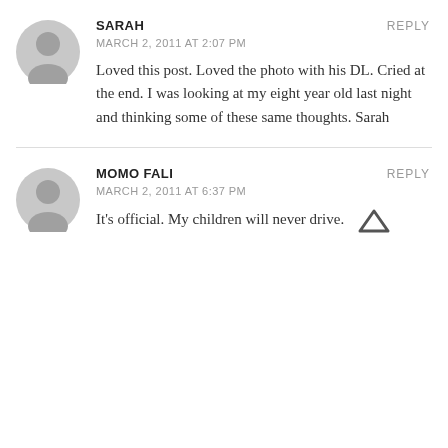SARAH
MARCH 2, 2011 AT 2:07 PM
REPLY
Loved this post. Loved the photo with his DL. Cried at the end. I was looking at my eight year old last night and thinking some of these same thoughts. Sarah
MOMO FALI
MARCH 2, 2011 AT 6:37 PM
REPLY
It's official. My children will never drive.